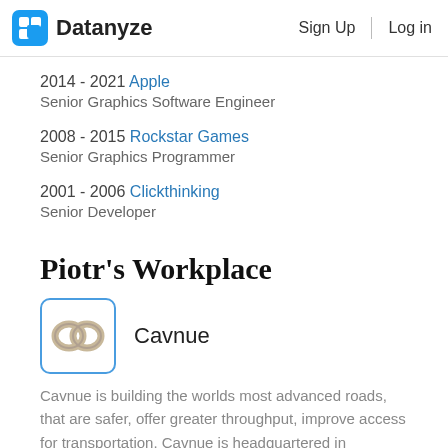Datanyze  Sign Up  Log in
2014 - 2021 Apple
Senior Graphics Software Engineer
2008 - 2015 Rockstar Games
Senior Graphics Programmer
2001 - 2006 Clickthinking
Senior Developer
Piotr's Workplace
[Figure (logo): Cavnue company logo — two interlocked rings on white background with blue border]
Cavnue
Cavnue is building the worlds most advanced roads, that are safer, offer greater throughput, improve access for transportation. Cavnue is headquartered in